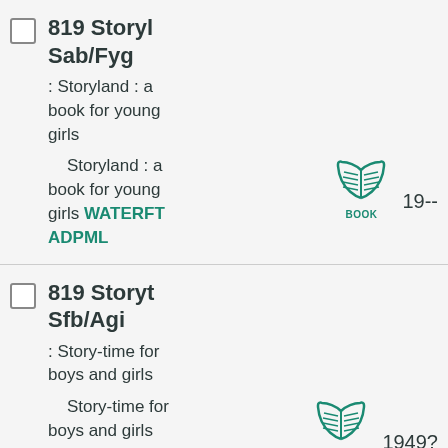819 Storyl Sab/Fyg : Storyland : a book for young girls — Storyland : a book for young girls WATERFT ADPML BOOK 19--
819 Storyt Sfb/Agi : Story-time for boys and girls — Story-time for boys and girls WATERFT ADPML BOOK 1949?